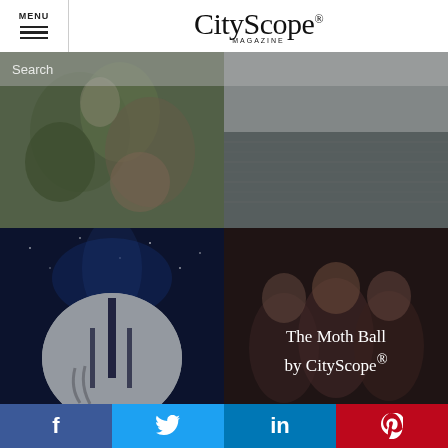MENU | CityScope Magazine
[Figure (screenshot): CityScope Magazine website header with hamburger menu icon and CityScope logo]
[Figure (photo): Top-left grid cell: person holding floral bouquet, wedding scene]
[Figure (photo): Top-right grid cell: dark water texture / rippled water surface]
[Figure (photo): Bottom-left grid cell: football helmet with starry blue background]
[Figure (photo): Bottom-right grid cell: group of smiling women with overlay text 'The Moth Ball by CityScope®']
The Moth Ball by CityScope®
f  (Twitter bird)  in  (Pinterest)